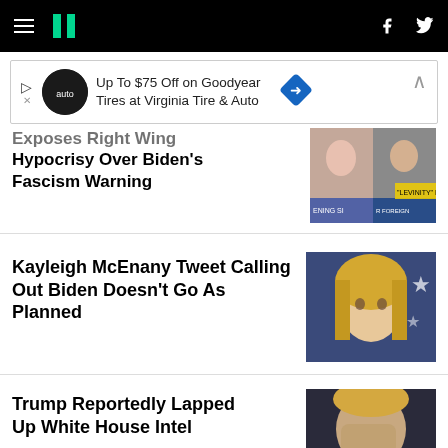HuffPost navigation bar with hamburger menu, logo, Facebook and Twitter icons
[Figure (other): Advertisement banner: Up To $75 Off on Goodyear Tires at Virginia Tire & Auto]
Exposes Right Wing Hypocrisy Over Biden's Fascism Warning
[Figure (photo): TV screenshot showing news anchors on cable news]
Kayleigh McEnany Tweet Calling Out Biden Doesn't Go As Planned
[Figure (photo): Portrait photo of Kayleigh McEnany with blonde hair in front of American flag]
Trump Reportedly Lapped Up White House Intel
[Figure (photo): Photo of Trump with hand covering face]